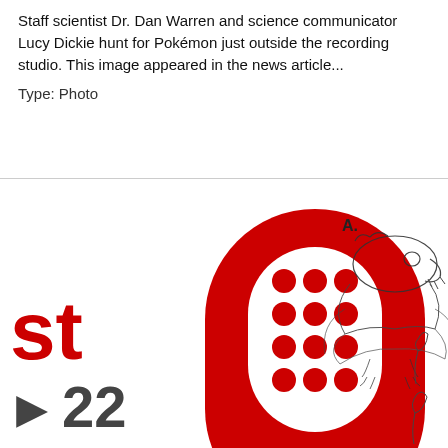Staff scientist Dr. Dan Warren and science communicator Lucy Dickie hunt for Pokémon just outside the recording studio. This image appeared in the news article...
Type: Photo
[Figure (photo): A composite image showing a red microphone podcast logo with white dots on a white background (partially cropped), with text 'st' and '22' visible on the left in red and dark gray. On the right side, a scientific illustration labeled 'A.' depicts a bat skull/face and bat body drawings.]